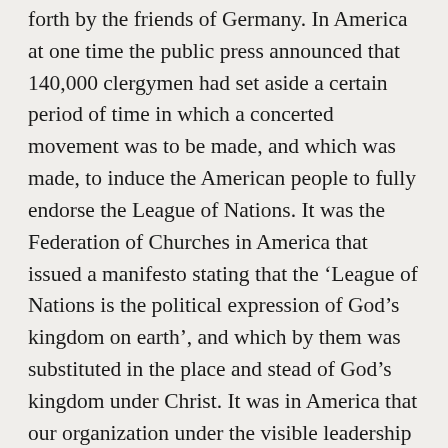forth by the friends of Germany. In America at one time the public press announced that 140,000 clergymen had set aside a certain period of time in which a concerted movement was to be made, and which was made, to induce the American people to fully endorse the League of Nations. It was the Federation of Churches in America that issued a manifesto stating that the 'League of Nations is the political expression of God's kingdom on earth', and which by them was substituted in the place and stead of God's kingdom under Christ. It was in America that our organization under the visible leadership of its president pointed out emphatically that the League of Nations is not an institution of Jehovah God, because it is oppressive and unfair. It was that condition, existing at the time, which called forth language that appears in our books concerning the League of Nations and also calling attention to the fact that such